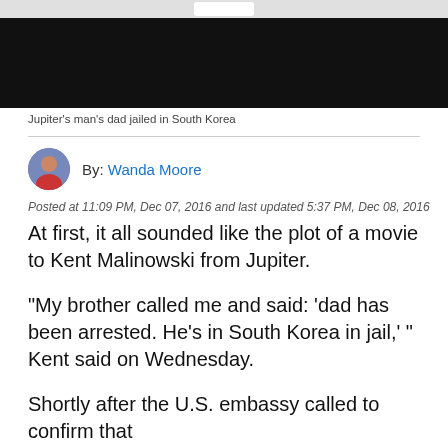[Figure (screenshot): Video player thumbnail showing a black screen with a top control bar]
Jupiter's man's dad jailed in South Korea
By: Wanda Moore
Posted at 11:09 PM, Dec 07, 2016 and last updated 5:37 PM, Dec 08, 2016
At first, it all sounded like the plot of a movie to Kent Malinowski from Jupiter.
"My brother called me and said: 'dad has been arrested. He's in South Korea in jail,' " Kent said on Wednesday.
Shortly after the U.S. embassy called to confirm that